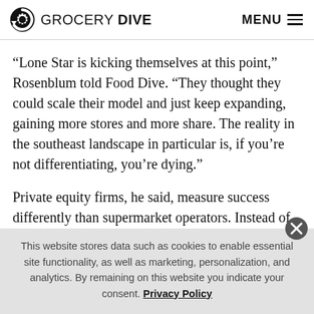GROCERY DIVE  MENU
“Lone Star is kicking themselves at this point,” Rosenblum told Food Dive. “They thought they could scale their model and just keep expanding, gaining more stores and more share. The reality in the southeast landscape in particular is, if you’re not differentiating, you’re dying.”
Private equity firms, he said, measure success differently than supermarket operators. Instead of topline sales and
This website stores data such as cookies to enable essential site functionality, as well as marketing, personalization, and analytics. By remaining on this website you indicate your consent. Privacy Policy